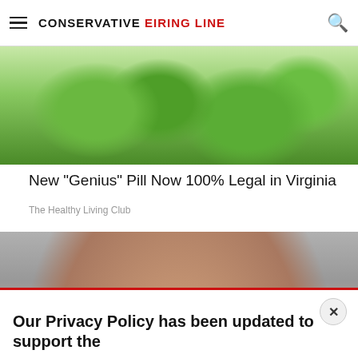CONSERVATIVE FIRING LINE
[Figure (photo): Green pills/supplements on a plate, top portion visible]
New "Genius" Pill Now 100% Legal in Virginia
The Healthy Living Club
[Figure (photo): Close-up of a man's face with wide open eyes and a big smile]
Our Privacy Policy has been updated to support the